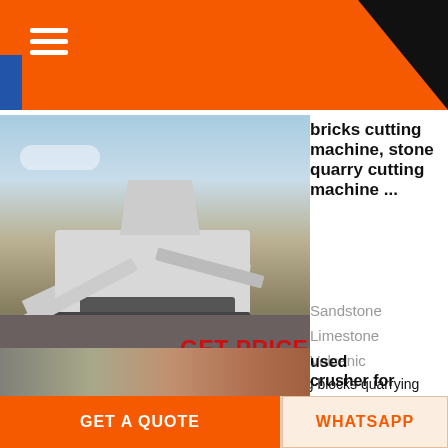[Figure (photo): Large mobile stone crushing / quarrying machine on a gravel site, outdoors under a blue sky]
bricks cutting machine, stone quarry cutting machine ...
Sandstone
Limestone
Volcanic
Tufa Calcareous Stone Blocks, bricks and building blocks quarrying machines. Stone bricks cutting machine, stone quarry cutting machine for bricks Our Location
GET PRICE
[Figure (photo): Indoor factory or warehouse space with machinery, and a partial view of another piece of equipment]
used crusher for
GET A QUOTE
WHATSAPP